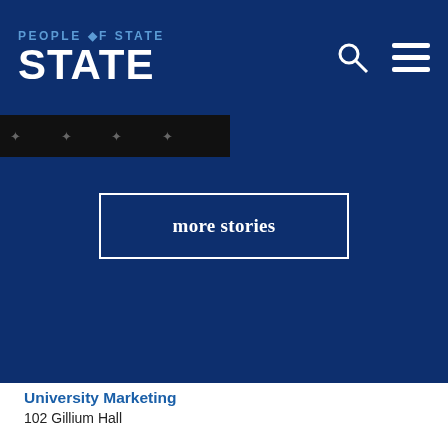PEOPLE OF STATE
[Figure (screenshot): Dark image strip with star/snowflake decorations visible at the top of the content area]
more stories
University Marketing
102 Gillium Hall
(812) 872-5009
ISU-Marketing@mail.indstate.edu
Tell us your story